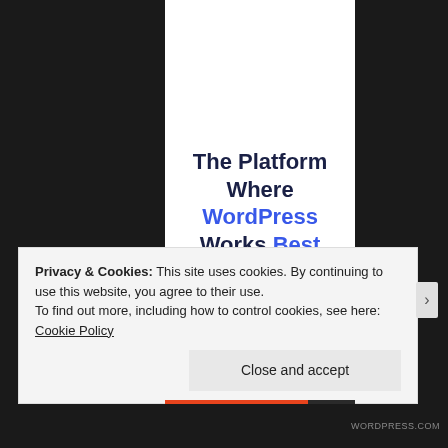The Platform Where WordPress Works Best
Privacy & Cookies: This site uses cookies. By continuing to use this website, you agree to their use.
To find out more, including how to control cookies, see here: Cookie Policy
Close and accept